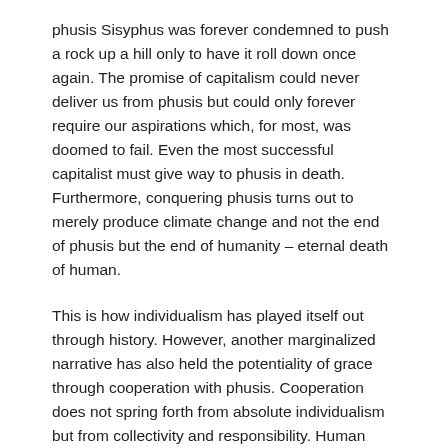phusis Sisyphus was forever condemned to push a rock up a hill only to have it roll down once again. The promise of capitalism could never deliver us from phusis but could only forever require our aspirations which, for most, was doomed to fail. Even the most successful capitalist must give way to phusis in death. Furthermore, conquering phusis turns out to merely produce climate change and not the end of phusis but the end of humanity – eternal death of human.
This is how individualism has played itself out through history. However, another marginalized narrative has also held the potentiality of grace through cooperation with phusis. Cooperation does not spring forth from absolute individualism but from collectivity and responsibility. Human meaning is not obtained through the desperations of individualism but through the graces of maturity. Maturity recognizes our dependence upon phusis and each other. We no longer actualize the dynamics of power and subjugation built into the metaphysics of individualism but allow, make way, for the gift of the other: the